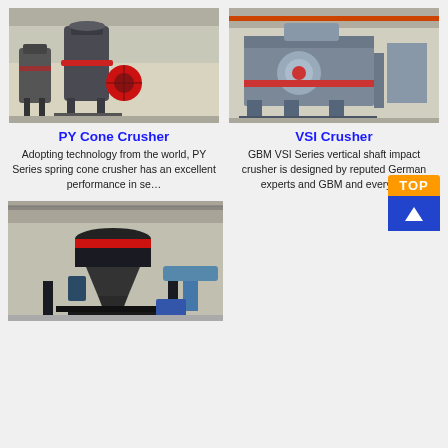[Figure (photo): PY Cone Crusher machine in industrial warehouse]
[Figure (photo): VSI Crusher machine in industrial warehouse]
PY Cone Crusher
Adopting technology from the world, PY Series spring cone crusher has an excellent performance in se…
VSI Crusher
GBM VSI Series vertical shaft impact crusher is designed by reputed German experts and GBM and every i…
[Figure (photo): Third crusher machine (VSI type) in industrial warehouse]